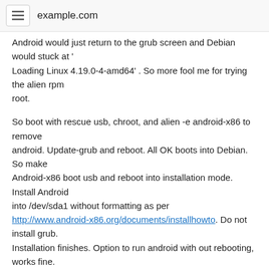example.com
Android would just return to the grub screen and Debian would stuck at '
Loading Linux 4.19.0-4-amd64' . So more fool me for trying the alien rpm
root.
So boot with rescue usb, chroot, and alien -e android-x86 to remove
android. Update-grub and reboot. All OK boots into Debian. So make
Android-x86 boot usb and reboot into installation mode. Install Android
into /dev/sda1 without formatting as per
http://www.android-x86.org/documents/installhowto. Do not install grub.
Installation finishes. Option to run android with out rebooting, works fine.
Reboot and can't get passed grub. Same symptoms as